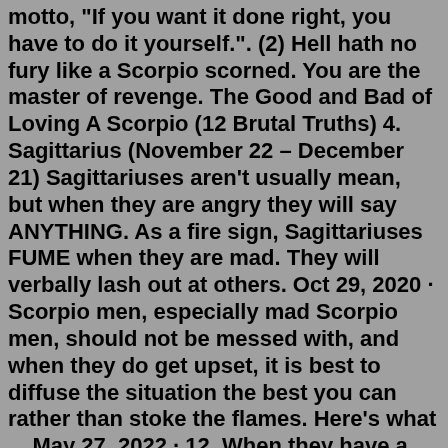motto, "If you want it done right, you have to do it yourself.". (2) Hell hath no fury like a Scorpio scorned. You are the master of revenge. The Good and Bad of Loving A Scorpio (12 Brutal Truths) 4. Sagittarius (November 22 – December 21) Sagittariuses aren't usually mean, but when they are angry they will say ANYTHING. As a fire sign, Sagittariuses FUME when they are mad. They will verbally lash out at others. Oct 29, 2020 · Scorpio men, especially mad Scorpio men, should not be messed with, and when they do get upset, it is best to diffuse the situation the best you can rather than stoke the flames. Here's what ... May 27, 2022 · 12. When they have a crush on you, Scorpios will make sure everything is ok with you. If they offer you a ride home out of the blue, suddenly seem like they're trying to impress you more with their clothes, or really hold onto your words and react to them sharply, they may be interested in you. 13. Scorpio is a fixed sign; and once a Scorpio has set their sight on a goal, they will pursue it faithfully until the end.